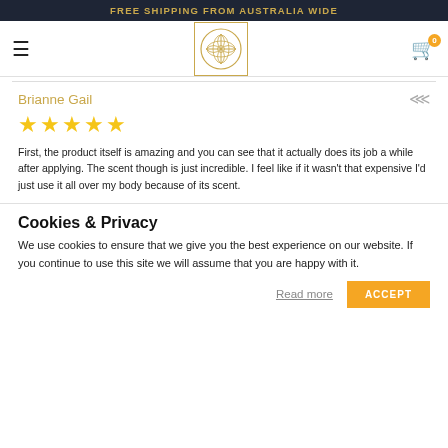FREE SHIPPING FROM AUSTRALIA WIDE
Brianne Gail
[Figure (other): 5 yellow stars rating]
First, the product itself is amazing and you can see that it actually does its job a while after applying. The scent though is just incredible. I feel like if it wasn't that expensive I'd just use it all over my body because of its scent.
Cookies & Privacy
We use cookies to ensure that we give you the best experience on our website. If you continue to use this site we will assume that you are happy with it.
Read more
ACCEPT